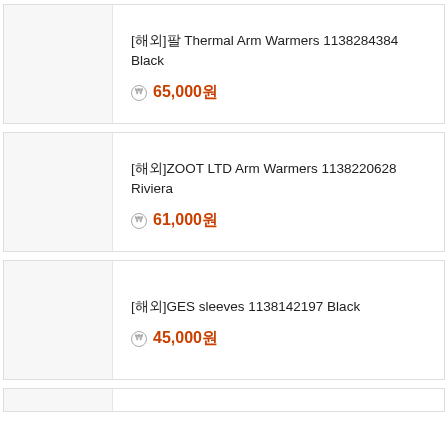[해외]팔 Thermal Arm Warmers 1138284384 Black
65,000원
[해외]ZOOT LTD Arm Warmers 1138220628 Riviera
61,000원
[해외]GES sleeves 1138142197 Black
45,000원